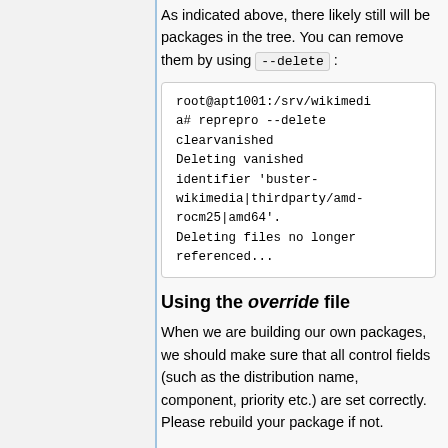As indicated above, there likely still will be packages in the tree. You can remove them by using --delete :
root@apt1001:/srv/wikimedia# reprepro --delete clearvanished
Deleting vanished identifier 'buster-wikimedia|thirdparty/amd-rocm25|amd64'.
Deleting files no longer referenced...
Using the override file
When we are building our own packages, we should make sure that all control fields (such as the distribution name, component, priority etc.) are set correctly. Please rebuild your package if not.